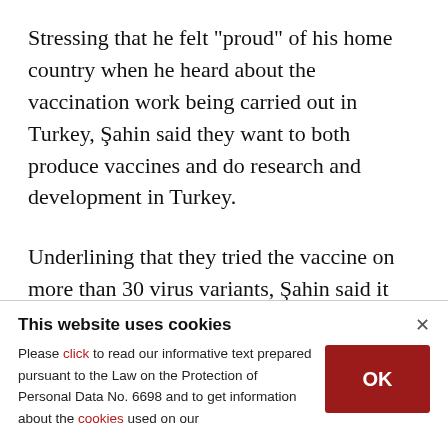Stressing that he felt "proud" of his home country when he heard about the vaccination work being carried out in Turkey, Şahin said they want to both produce vaccines and do research and development in Turkey.
Underlining that they tried the vaccine on more than 30 virus variants, Şahin said it also works against mutations.
This website uses cookies
Please click to read our informative text prepared pursuant to the Law on the Protection of Personal Data No. 6698 and to get information about the cookies used on our